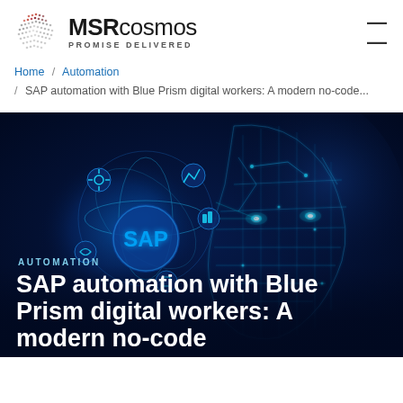MSRcosmos PROMISE DELIVERED
Home / Automation / SAP automation with Blue Prism digital workers: A modern no-code…
[Figure (photo): Dark blue background image featuring a glowing blue circuit-patterned humanoid head on the right side and an SAP logo surrounded by floating digital icons on the left. Text 'AUTOMATION' and article title overlay the bottom portion.]
SAP automation with Blue Prism digital workers: A modern no-code